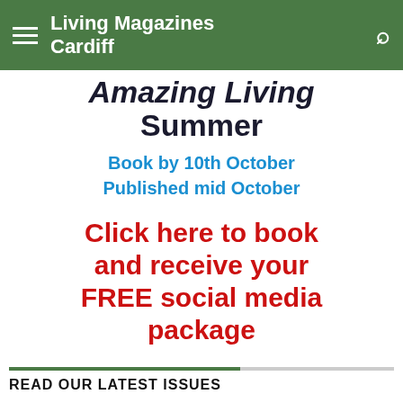Living Magazines Cardiff
Amazing Living Summer
Book by 10th October
Published mid October
Click here to book and receive your FREE social media package
READ OUR LATEST ISSUES
Rhiwbina Living
LivingMagazinesCa…